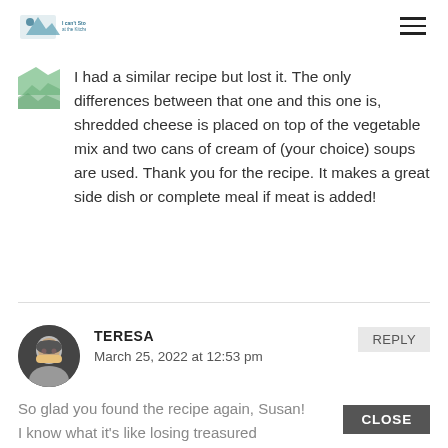[Logo] [Hamburger menu]
I had a similar recipe but lost it. The only differences between that one and this one is, shredded cheese is placed on top of the vegetable mix and two cans of cream of (your choice) soups are used. Thank you for the recipe. It makes a great side dish or complete meal if meat is added!
TERESA
March 25, 2022 at 12:53 pm
REPLY
So glad you found the recipe again, Susan! I know what it's like losing treasured
CLOSE